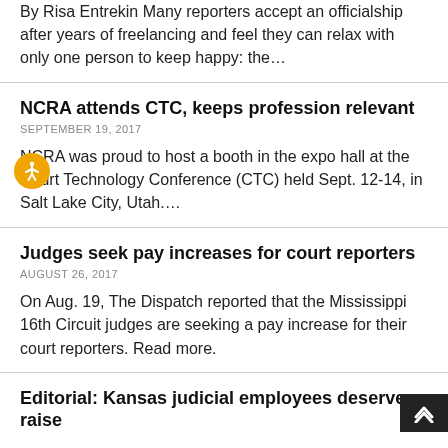By Risa Entrekin Many reporters accept an officialship after years of freelancing and feel they can relax with only one person to keep happy: the…
NCRA attends CTC, keeps profession relevant
SEPTEMBER 19, 2017
NCRA was proud to host a booth in the expo hall at the Court Technology Conference (CTC) held Sept. 12-14, in Salt Lake City, Utah….
Judges seek pay increases for court reporters
AUGUST 26, 2017
On Aug. 19, The Dispatch reported that the Mississippi 16th Circuit judges are seeking a pay increase for their court reporters. Read more.
Editorial: Kansas judicial employees deserve a raise